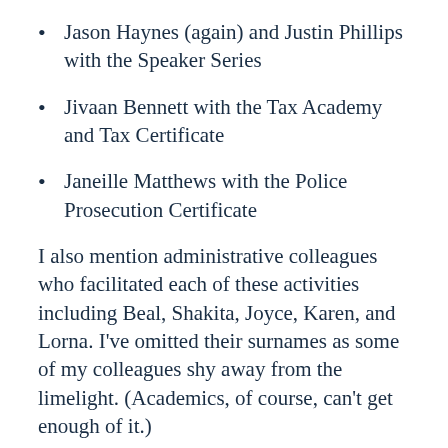Jason Haynes (again) and Justin Phillips with the Speaker Series
Jivaan Bennett with the Tax Academy and Tax Certificate
Janeille Matthews with the Police Prosecution Certificate
I also mention administrative colleagues who facilitated each of these activities including Beal, Shakita, Joyce, Karen, and Lorna. I've omitted their surnames as some of my colleagues shy away from the limelight. (Academics, of course, can't get enough of it.)
Photo by Iñaki del